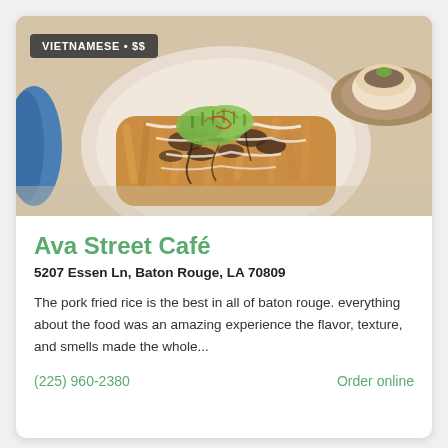[Figure (photo): Food photo showing a plate of loaded fries topped with green onions, creamy drizzle, and toppings, alongside another dish on a wooden board, with a blue object on the left edge. Badge overlay reads 'VIETNAMESE • $$'.]
Ava Street Café
5207 Essen Ln, Baton Rouge, LA 70809
The pork fried rice is the best in all of baton rouge. everything about the food was an amazing experience the flavor, texture, and smells made the whole...
(225) 960-2380
Order online